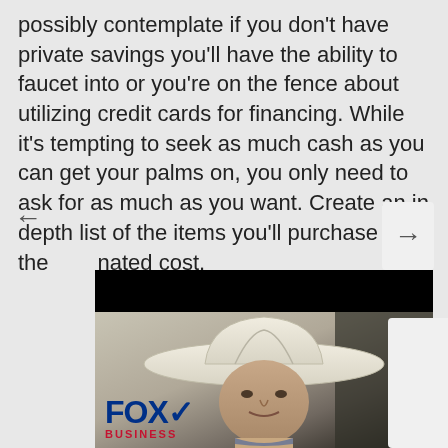possibly contemplate if you don't have private savings you'll have the ability to faucet into or you're on the fence about utilizing credit cards for financing. While it's tempting to seek as much cash as you can get your palms on, you only need to ask for as much as you want. Create an in depth list of the items you'll purchase and the nated cost.
[Figure (photo): Screenshot of a Fox Business news segment showing a man wearing a white cowboy hat sitting in a vehicle. The Fox Business logo is visible in the lower left corner.]